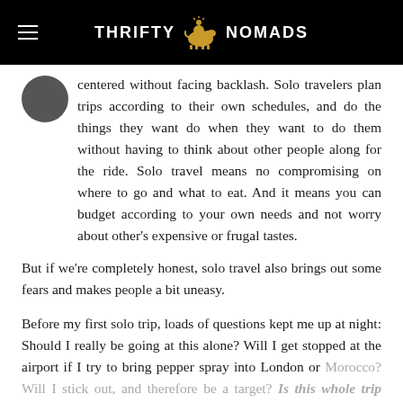THRIFTY NOMADS
centered without facing backlash. Solo travelers plan trips according to their own schedules, and do the things they want do when they want to do them without having to think about other people along for the ride. Solo travel means no compromising on where to go and what to eat. And it means you can budget according to your own needs and not worry about other's expensive or frugal tastes.
But if we're completely honest, solo travel also brings out some fears and makes people a bit uneasy.
Before my first solo trip, loads of questions kept me up at night: Should I really be going at this alone? Will I get stopped at the airport if I try to bring pepper spray into London or Morocco? Will I stick out, and therefore be a target? Is this whole trip even a good idea?